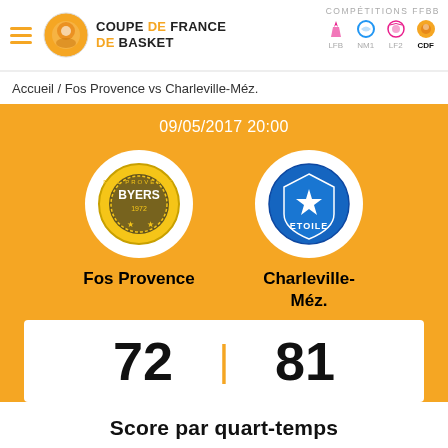Coupe de France de Basket — COMPÉTITIONS FFBB — LFB NM1 LF2 CDF
Accueil / Fos Provence vs Charleville-Méz.
09/05/2017 20:00
[Figure (logo): Fos Provence Byers basketball team logo in circular white frame]
[Figure (logo): Charleville-Méz. Etoile basketball team logo in circular white frame]
Fos Provence
Charleville-Méz.
72 | 81
Score par quart-temps